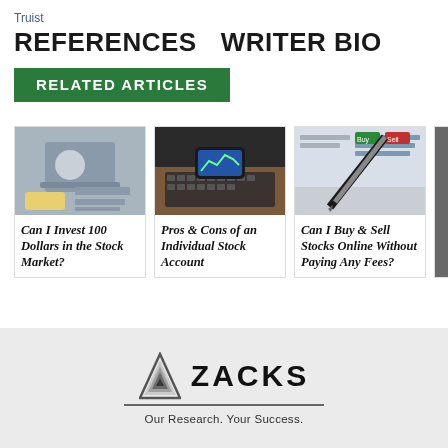Truist
REFERENCES   WRITER BIO
RELATED ARTICLES
[Figure (photo): Person reviewing financial documents at a desk with a calculator and coffee cup]
Can I Invest 100 Dollars in the Stock Market?
[Figure (photo): Hands holding a smartphone over a laptop keyboard on a wooden desk]
Pros & Cons of an Individual Stock Account
[Figure (photo): Close-up of a pen on a trading screen showing stock buy and sell options]
Can I Buy & Sell Stocks Online Without Paying Any Fees?
[Figure (photo): Partially visible fourth article card with dark background]
W... S... T... T...
[Figure (logo): Zacks Investment Research logo — triangle icon with ZACKS text and tagline 'Our Research. Your Success.']